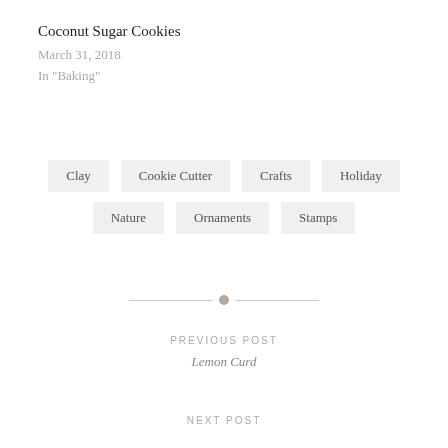Coconut Sugar Cookies
March 31, 2018
In "Baking"
Clay
Cookie Cutter
Crafts
Holiday
Nature
Ornaments
Stamps
PREVIOUS POST
Lemon Curd
NEXT POST